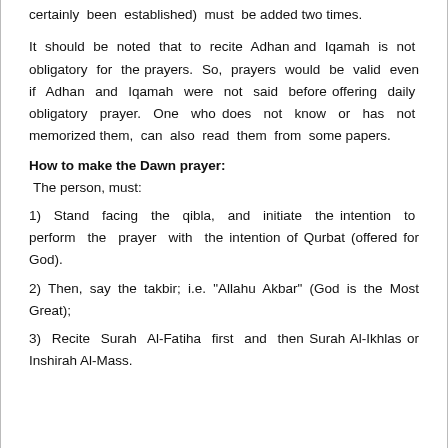certainly been established) must be added two times.
It should be noted that to recite Adhan and Iqamah is not obligatory for the prayers. So, prayers would be valid even if Adhan and Iqamah were not said before offering daily obligatory prayer. One who does not know or has not memorized them, can also read them from some papers.
How to make the Dawn prayer:
The person, must:
1)  Stand facing the qibla, and initiate the intention to perform the prayer with the intention of Qurbat (offered for God).
2) Then, say the takbir; i.e. "Allahu Akbar" (God is the Most Great);
3)  Recite Surah Al-Fatiha first and then Surah Al-Ikhlas or Inshirah Al-Mass.